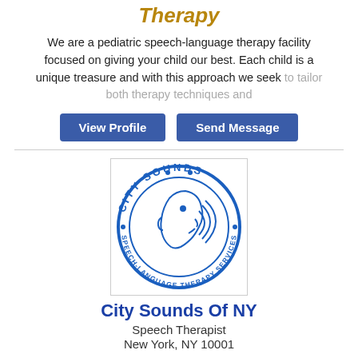Therapy
We are a pediatric speech-language therapy facility focused on giving your child our best. Each child is a unique treasure and with this approach we seek to tailor both therapy techniques and
[Figure (logo): City Sounds Speech-Language Therapy Services circular logo with a face profile illustration in blue]
City Sounds Of NY
Speech Therapist
New York, NY 10001
Leading provider for CPSE & CSE speech therapy services